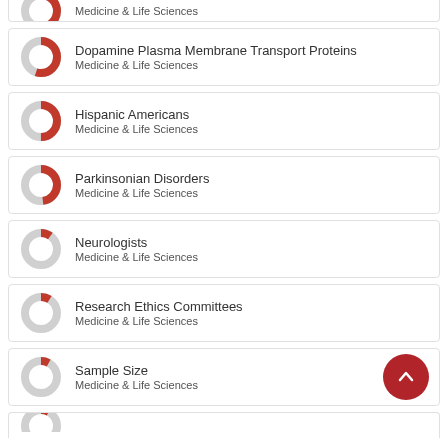Medicine & Life Sciences (partial top)
Dopamine Plasma Membrane Transport Proteins
Medicine & Life Sciences
Hispanic Americans
Medicine & Life Sciences
Parkinsonian Disorders
Medicine & Life Sciences
Neurologists
Medicine & Life Sciences
Research Ethics Committees
Medicine & Life Sciences
Sample Size
Medicine & Life Sciences
(partial bottom — Neurodegeneration Dis...)